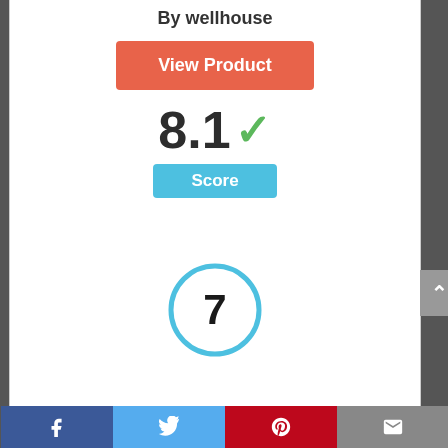By wellhouse
View Product
8.1 ✓
Score
[Figure (infographic): Circle badge with number 7 inside, outlined in blue]
[Figure (photo): Partial view of a dark product (top rounded shape, possibly a speaker or device)]
[Figure (infographic): Social sharing bar with Facebook, Twitter, Pinterest, and email icons]